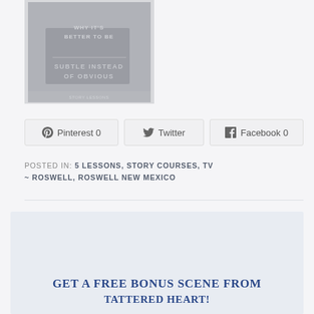[Figure (illustration): Book cover image with faded/ghosted text reading 'WHY IT'S BETTER TO BE SUBTLE INSTEAD OF OBVIOUS']
Pinterest 0   Twitter   Facebook 0
POSTED IN: 5 LESSONS, STORY COURSES, TV ~ ROSWELL, ROSWELL NEW MEXICO
GET A FREE BONUS SCENE FROM TATTERED HEART!